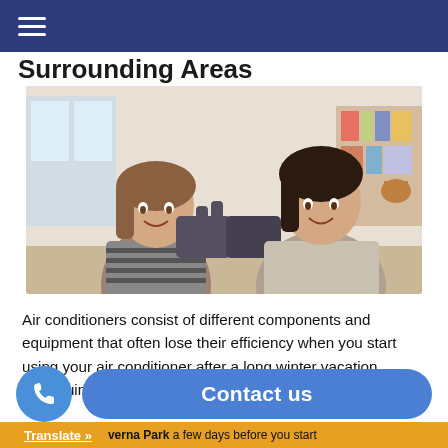Surrounding Areas
[Figure (photo): A woman and a young girl smiling and holding puzzle pieces together indoors]
Air conditioners consist of different components and equipment that often lose their efficiency when you start using your air conditioner after a long winter vacation. Continuing to use an air conditioner whose parts do not perform their best can lead to unwanted problems and increased e...
Contact us
Translate »  ...verna Park a few days before you start